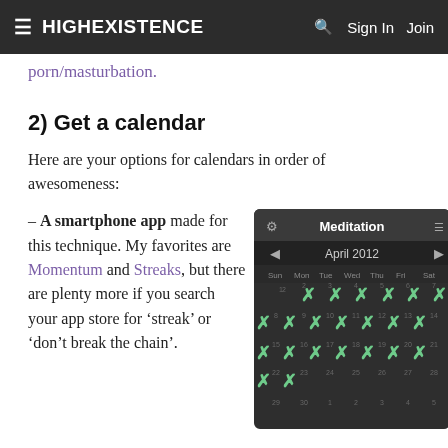≡ HIGHEXISTENCE  🔍  Sign In  Join
porn/masturbation.
2) Get a calendar
Here are your options for calendars in order of awesomeness:
– A smartphone app made for this technique. My favorites are Momentum and Streaks, but there are plenty more if you search your app store for 'streak' or 'don't break the chain'.
[Figure (screenshot): Screenshot of a smartphone meditation habit-tracking calendar app showing April 2012 with green X marks on completed days.]